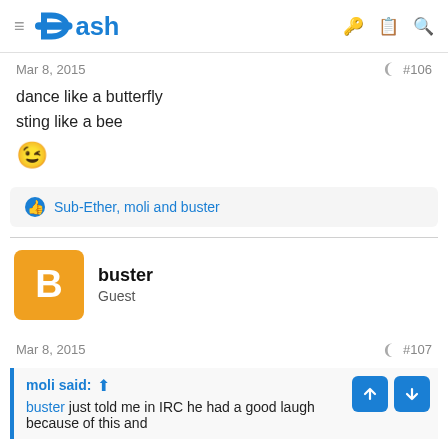Dash
Mar 8, 2015   #106
dance like a butterfly
sting like a bee
😉
Sub-Ether, moli and buster
buster
Guest
Mar 8, 2015   #107
moli said: ↑
buster just told me in IRC he had a good laugh because of this and